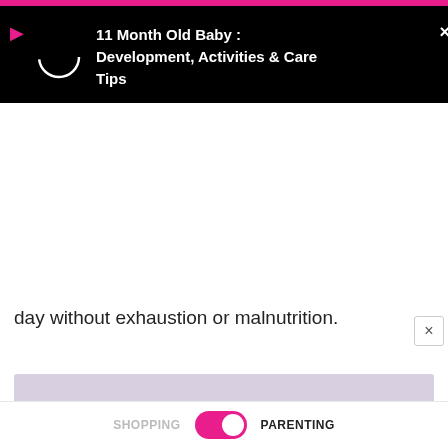[Figure (screenshot): Video notification banner overlay with play button icon, circular loading icon, title '11 Month Old Baby : Development, Activities & Care Tips' on black background]
day without exhaustion or malnutrition.
[Figure (photo): Creative children's food plate shaped like a bunny/bear face made from bread, cheese, ham, cherry tomatoes shaped as tulips, dill, carrot, and egg pieces, with a small bowl of fruit (banana slices and berries) on a light purple tablecloth]
SHOPPING    [toggle]    PARENTING